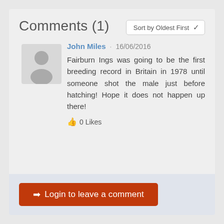Comments (1)
Sort by Oldest First
John Miles · 16/06/2016
Fairburn Ings was going to be the first breeding record in Britain in 1978 until someone shot the male just before hatching! Hope it does not happen up there!
👍 0 Likes
➜ Login to leave a comment